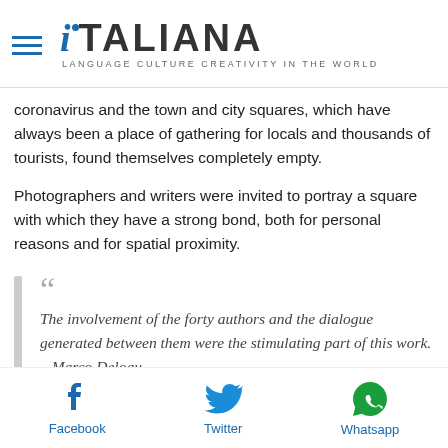iITALIANA — LANGUAGE CULTURE CREATIVITY IN THE WORLD
coronavirus and the town and city squares, which have always been a place of gathering for locals and thousands of tourists, found themselves completely empty.
Photographers and writers were invited to portray a square with which they have a strong bond, both for personal reasons and for spatial proximity.
The involvement of the forty authors and the dialogue generated between them were the stimulating part of this work. – Marco Delogu
The guests included the writers Valerio Magrelli, Francesco
Facebook   Twitter   Whatsapp